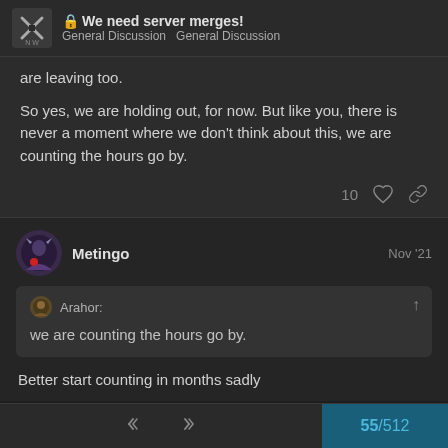We need server merges! General Discussion General Discussion
are leaving too.
So yes, we are holding out, for now. But like you, there is never a moment where we don't think about this, we are counting the hours go by.
10
Metingo Nov '21
Arahor: we are counting the hours go by.
Better start counting in months sadly
55 / 512